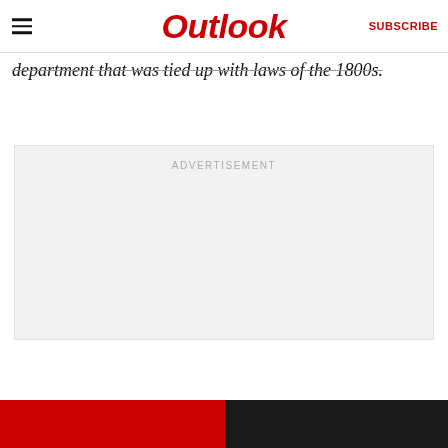Outlook | SUBSCRIBE
department that was tied up with laws of the 1800s.
[Figure (other): Advertisement placeholder block with light gray background and 'ADVERTISEMENT' label at top center]
[Figure (other): Bottom strip with two image thumbnails side by side — left in red, right in dark/black]